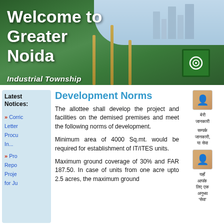[Figure (photo): Banner photo of Greater Noida city with sculptures, trees, buildings and a green road sign. White bold text overlay reads 'Welcome to Greater Noida' with subtitle 'Industrial Township']
Welcome to Greater Noida
Industrial Township
Latest Notices:
» Corric Letter Procu In...
» Pro Repo Proje for Ju
Development Norms
The allottee shall develop the project and facilities on the demised premises and meet the following norms of development.
Minimum area of 4000 Sq.mt. would be required for establishment of IT/ITES units.
Maximum ground coverage of 30% and FAR 187.50. In case of units from one acre upto 2.5 acres, the maximum ground
[Figure (photo): Small avatar/portrait photo of a person in orange clothing]
हिंदी पाठ / Hindi text block (transliterated)
[Figure (photo): Small avatar/portrait photo of a person]
हिंदी पाठ second block